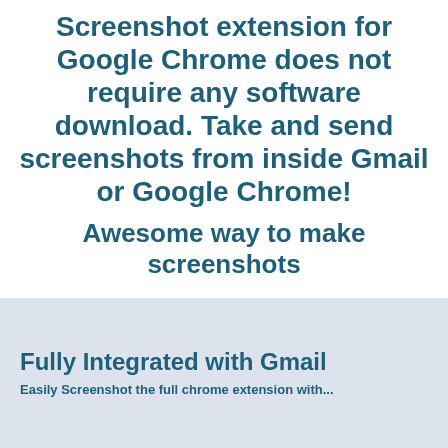Screenshot extension for Google Chrome does not require any software download. Take and send screenshots from inside Gmail or Google Chrome! Awesome way to make screenshots
Fully Integrated with Gmail
Easily Screenshot the full chrome extension with...